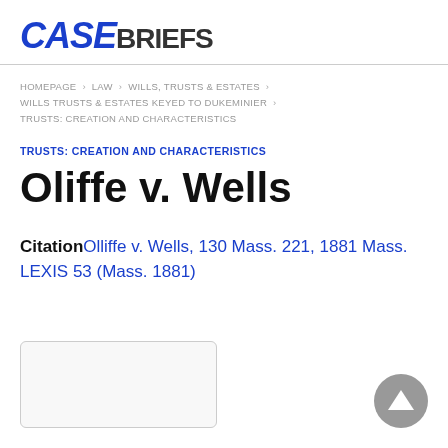CASEBRIEFS
HOMEPAGE > LAW > WILLS, TRUSTS & ESTATES > WILLS TRUSTS & ESTATES KEYED TO DUKEMINIER > TRUSTS: CREATION AND CHARACTERISTICS
TRUSTS: CREATION AND CHARACTERISTICS
Oliffe v. Wells
Citation Olliffe v. Wells, 130 Mass. 221, 1881 Mass. LEXIS 53 (Mass. 1881)
[Figure (other): Empty white rectangular placeholder box with light border]